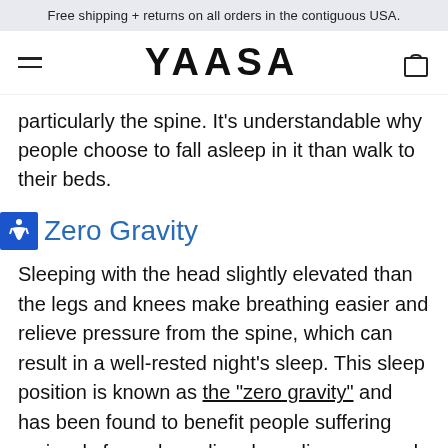Free shipping + returns on all orders in the contiguous USA.
[Figure (logo): YAASA logo with hamburger menu icon on left and shopping bag icon on right]
particularly the spine. It’s understandable why people choose to fall asleep in it than walk to their beds.
Zero Gravity
Sleeping with the head slightly elevated than the legs and knees make breathing easier and relieve pressure from the spine, which can result in a well-rested night’s sleep. This sleep position is known as the “zero gravity” and has been found to benefit people suffering variously from sleep disorders, diseases, and aid in surgical recovery.